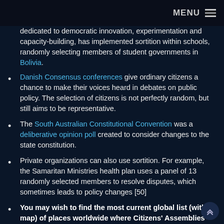MENU ≡
dedicated to democratic innovation, experimentation and capacity-building, has implemented sortition within schools, randomly selecting members of student governments in Bolivia.
Danish Consensus conferences give ordinary citizens a chance to make their voices heard in debates on public policy. The selection of citizens is not perfectly random, but still aims to be representative.
The South Australian Constitutional Convention was a deliberative opinion poll created to consider changes to the state constitution.
Private organizations can also use sortition. For example, the Samaritan Ministries health plan uses a panel of 13 randomly selected members to resolve disputes, which sometimes leads to policy changes [50]
You may wish to find the most current global list (with a map) of places worldwide where Citizens' Assemblies have been used on the Sortition Foundation site.
Citizens' Assemblies have, for good reason, generally focussed